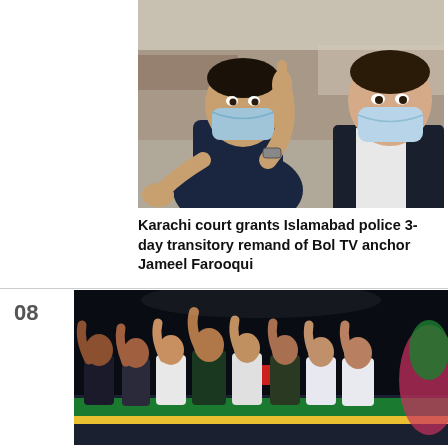[Figure (photo): Two men wearing face masks at what appears to be an airport or public venue. The man on the left wears a dark navy t-shirt and is pointing a finger upward, while the man on the right wears a white shirt under a dark blazer. Both are wearing light blue surgical masks.]
Karachi court grants Islamabad police 3-day transitory remand of Bol TV anchor Jameel Farooqui
[Figure (photo): A group of people on a stage at night, raising their hands. They appear to be at a political rally. A green banner/flag is visible in the foreground, likely Pakistan Tehreek-e-Insaf (PTI) party flags.]